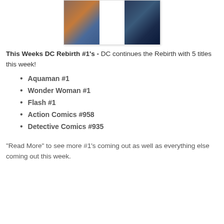[Figure (illustration): Comic book cover collage showing Superman and other DC characters in three panels — left panel shows Superman with villain, middle panel is white/blank, right panel shows dark figures.]
This Weeks DC Rebirth #1's - DC continues the Rebirth with 5 titles this week!
Aquaman #1
Wonder Woman #1
Flash #1
Action Comics #958
Detective Comics #935
"Read More" to see more #1's coming out as well as everything else coming out this week.